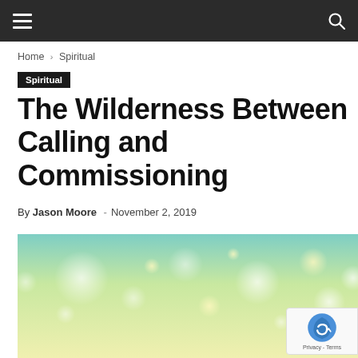≡   🔍
Home › Spiritual
Spiritual
The Wilderness Between Calling and Commissioning
By Jason Moore - November 2, 2019
[Figure (photo): Soft bokeh background image with warm yellow-green gradient tones and blurred light orbs]